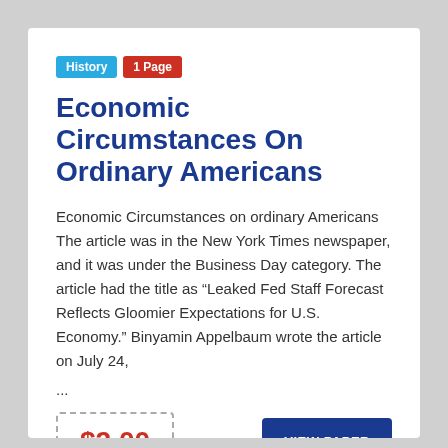History
1 Page
Economic Circumstances On Ordinary Americans
Economic Circumstances on ordinary Americans The article was in the New York Times newspaper, and it was under the Business Day category. The article had the title as “Leaked Fed Staff Forecast Reflects Gloomier Expectations for U.S. Economy.” Binyamin Appelbaum wrote the article on July 24,
...
$2.00
VIEW PAPER